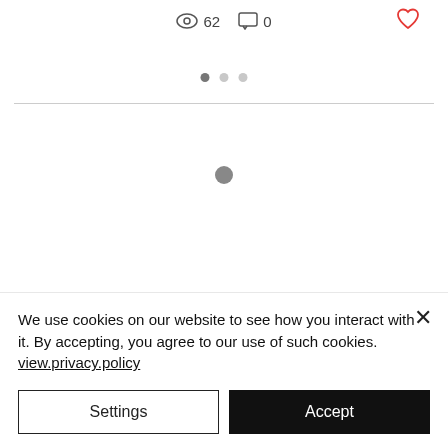[Figure (screenshot): Top bar with eye icon showing 62 views, comment icon showing 0 comments, and a red heart icon on the right]
[Figure (other): Three dots pagination indicator with first dot active (darker)]
[Figure (other): Single gray loading spinner dot in center of content area]
We use cookies on our website to see how you interact with it. By accepting, you agree to our use of such cookies. view.privacy.policy
Settings
Accept